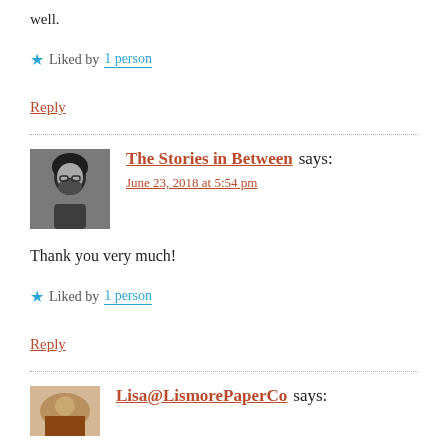well.
★ Liked by 1 person
Reply
The Stories in Between says: June 23, 2018 at 5:54 pm
Thank you very much!
★ Liked by 1 person
Reply
Lisa@LismorePaperCo says: